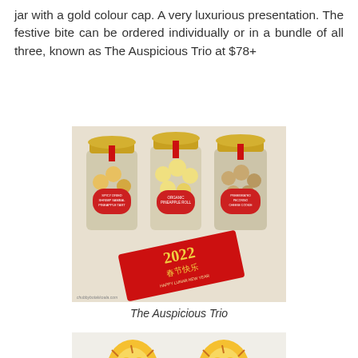jar with a gold colour cap. A very luxurious presentation. The festive bite can be ordered individually or in a bundle of all three, known as The Auspicious Trio at $78+
[Figure (photo): Three glass jars with gold caps containing cookies/tarts (labelled Spicy Dried Shrimp Sambal Pineapple Tart, Organic Pineapple Roll, Premigrated Pecorino Cheese Cookie), alongside a red 2022 Lunar New Year card reading 春节快乐 HAPPY LUNAR NEW YEAR, with watermark chubbybotakkoala.com]
The Auspicious Trio
[Figure (photo): Two cartoon tiger figurines/cookies dressed in traditional Chinese New Year outfits, yellow and orange with red accessories, on a white background]